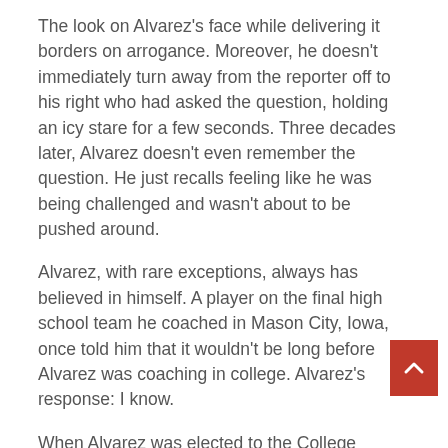The look on Alvarez's face while delivering it borders on arrogance. Moreover, he doesn't immediately turn away from the reporter off to his right who had asked the question, holding an icy stare for a few seconds. Three decades later, Alvarez doesn't even remember the question. He just recalls feeling like he was being challenged and wasn't about to be pushed around.
Alvarez, with rare exceptions, always has believed in himself. A player on the final high school team he coached in Mason City, Iowa, once told him that it wouldn't be long before Alvarez was coaching in college. Alvarez's response: I know.
When Alvarez was elected to the College Football Hall of Fame in 2010, a reporter asked him if he was surprised a guy from his little hometown had earned such an achievement. Alvarez's response again was blunt: No, it doesn't surprise me.
Long before they served as Alvarez's vehicle out of steel-